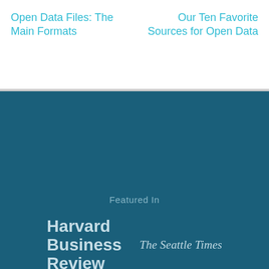Open Data Files: The Main Formats
Our Ten Favorite Sources for Open Data
Featured In
[Figure (logo): Harvard Business Review logo in light blue-grey on dark teal background]
[Figure (logo): The Seattle Times logo in serif italic, light blue-grey on dark teal]
[Figure (logo): TechCrunch logo with TC icon and text, light blue-grey on dark teal]
[Figure (logo): VentureBeat logo bold sans-serif, light blue-grey on dark teal]
[Figure (logo): The Wall Street Journal logo in spaced serif capitals, light blue-grey on dark teal]
[Figure (logo): GeekWire logo bold sans-serif with degree symbol on O, light blue-grey on dark teal]